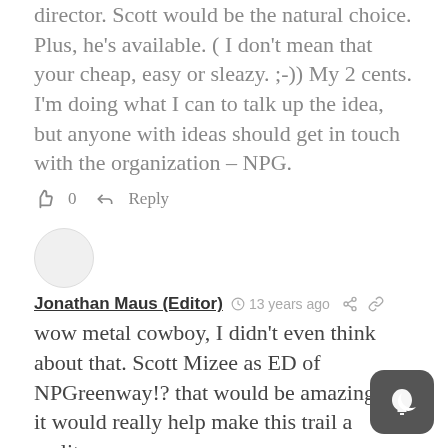director. Scott would be the natural choice. Plus, he's available. ( I don't mean that your cheap, easy or sleazy. ;-)) My 2 cents. I'm doing what I can to talk up the idea, but anyone with ideas should get in touch with the organization – NPG.
👍 0  ▶ Reply
Jonathan Maus (Editor)  🕐 13 years ago  share  link
wow metal cowboy, I didn't even think about that. Scott Mizee as ED of NPGreenway!? that would be amazing and it would really help make this trail a reality.
perhaps he can be the unpaid ED first